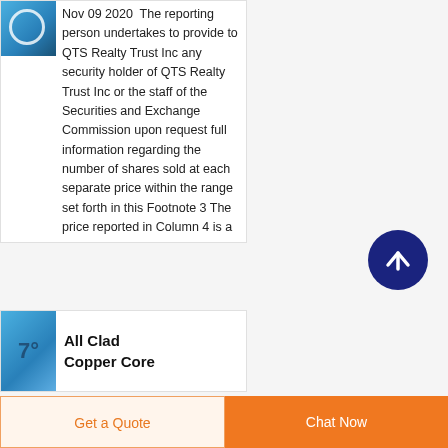Nov 09 2020  The reporting person undertakes to provide to QTS Realty Trust Inc any security holder of QTS Realty Trust Inc or the staff of the Securities and Exchange Commission upon request full information regarding the number of shares sold at each separate price within the range set forth in this Footnote 3 The price reported in Column 4 is a
[Figure (other): Scroll to top button - dark navy blue circle with upward pointing white arrow]
All Clad Copper Core
Get a Quote
Chat Now